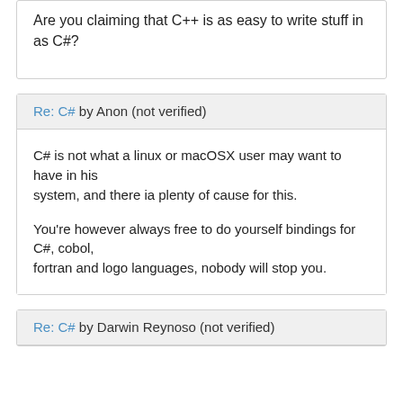Are you claiming that C++ is as easy to write stuff in as C#?
Re: C# by Anon (not verified)
C# is not what a linux or macOSX user may want to have in his system, and there ia plenty of cause for this.

You're however always free to do yourself bindings for C#, cobol, fortran and logo languages, nobody will stop you.
Re: C# by Darwin Reynoso (not verified)